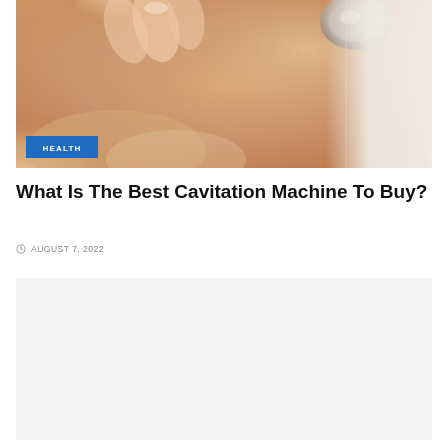[Figure (photo): A close-up photo of a hand holding a cavitation/ultrasound device applicator being applied to skin, with a white towel in the background. A blue 'HEALTH' badge is overlaid in the lower-left of the photo.]
What Is The Best Cavitation Machine To Buy?
AUGUST 7, 2022
[Figure (other): Advertisement placeholder box (light gray background)]